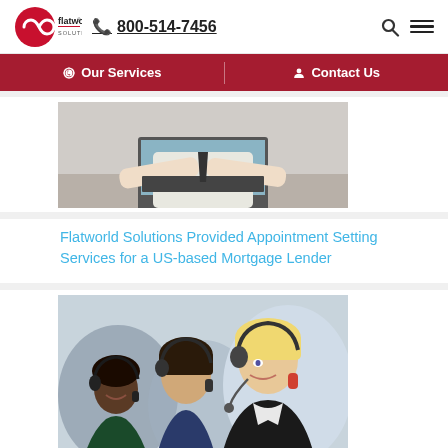flatworld SOLUTIONS · 800-514-7456
Our Services | Contact Us
[Figure (photo): Person in white shirt typing on a laptop computer, viewed from the side]
Flatworld Solutions Provided Appointment Setting Services for a US-based Mortgage Lender
[Figure (photo): Three call center agents wearing headsets, smiling, in a professional office setting]